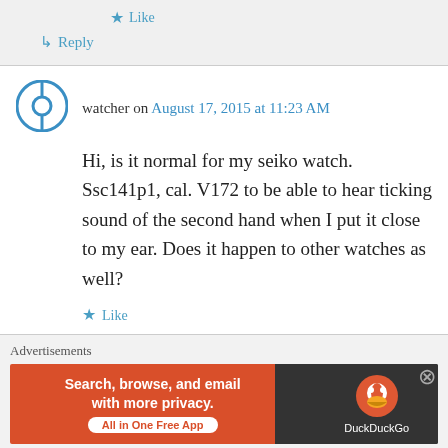★ Like
↳ Reply
watcher on August 17, 2015 at 11:23 AM
Hi, is it normal for my seiko watch. Ssc141p1, cal. V172 to be able to hear ticking sound of the second hand when I put it close to my ear. Does it happen to other watches as well?
★ Like
↳ Reply
Advertisements
[Figure (screenshot): DuckDuckGo advertisement banner: orange section with text 'Search, browse, and email with more privacy. All in One Free App' and dark section with DuckDuckGo logo]